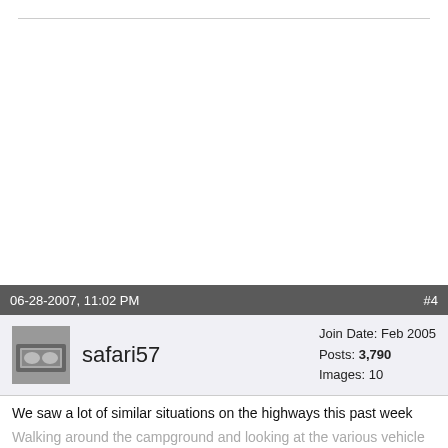06-28-2007, 11:02 PM   #4
safari57   Join Date: Feb 2005   Posts: 3,790   Images: 10
We saw a lot of similar situations on the highways this past week
Walking around the campground and looking at the various vehicles and what they were towing we were surprised at how many actually